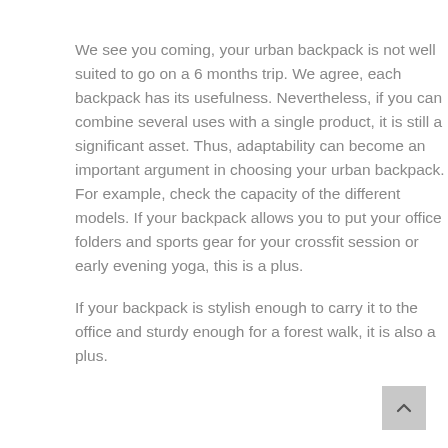We see you coming, your urban backpack is not well suited to go on a 6 months trip. We agree, each backpack has its usefulness. Nevertheless, if you can combine several uses with a single product, it is still a significant asset. Thus, adaptability can become an important argument in choosing your urban backpack. For example, check the capacity of the different models. If your backpack allows you to put your office folders and sports gear for your crossfit session or early evening yoga, this is a plus.
If your backpack is stylish enough to carry it to the office and sturdy enough for a forest walk, it is also a plus.